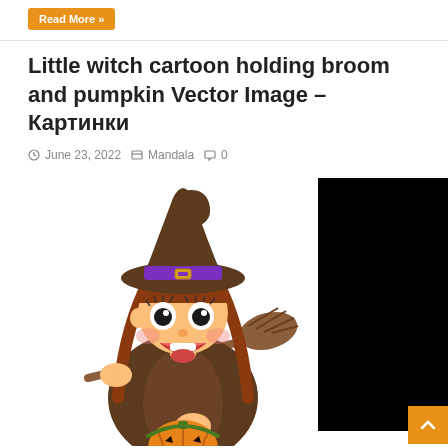Read More »
Little witch cartoon holding broom and pumpkin Vector Image – Картинки
June 23, 2022   Mandala   0
[Figure (illustration): Cartoon illustration of a little witch girl wearing a brown pointy hat with purple band, holding a broom and a pumpkin bucket, with a black panel on the right side of the image area]